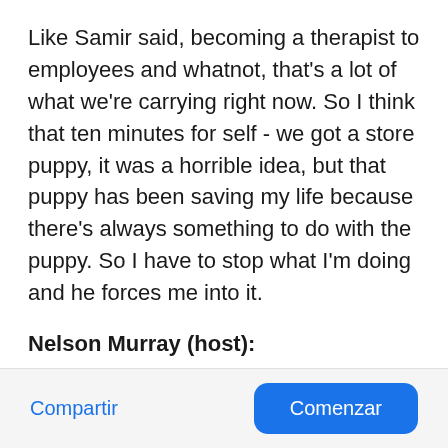Like Samir said, becoming a therapist to employees and whatnot, that's a lot of what we're carrying right now. So I think that ten minutes for self - we got a store puppy, it was a horrible idea, but that puppy has been saving my life because there's always something to do with the puppy. So I have to stop what I'm doing and he forces me into it.
Nelson Murray (host):
Cheryl, what about for you?
Compartir
Comenzar